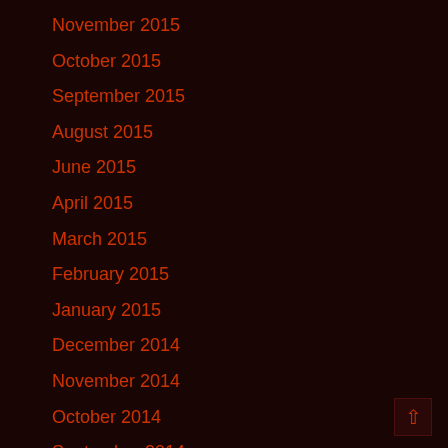November 2015
October 2015
September 2015
August 2015
June 2015
April 2015
March 2015
February 2015
January 2015
December 2014
November 2014
October 2014
September 2014
August 2014
July 2014